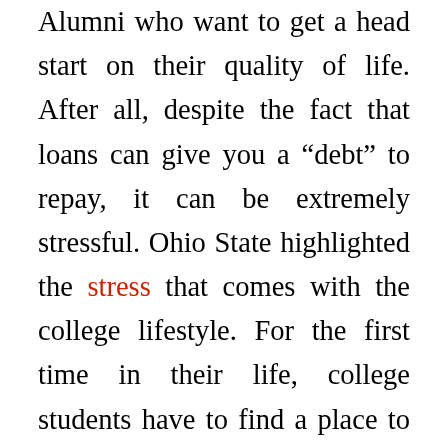Alumni who want to get a head start on their quality of life. After all, despite the fact that loans can give you a “debt” to repay, it can be extremely stressful. Ohio State highlighted the stress that comes with the college lifestyle. For the first time in their life, college students have to find a place to live, find a way to make money on their own, and pay huge financial bills like tuition and books. Alumni will probably always remember the shocking price tags of those first college textbooks. Along with the